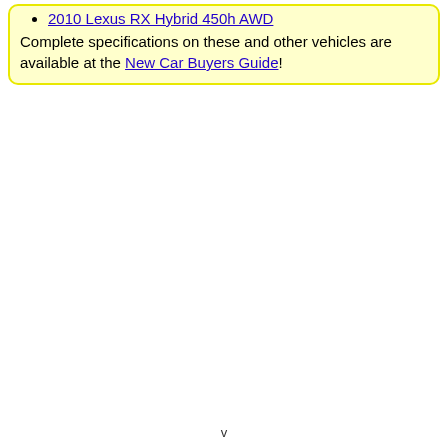2010 Lexus RX Hybrid 450h AWD
Complete specifications on these and other vehicles are available at the New Car Buyers Guide!
v